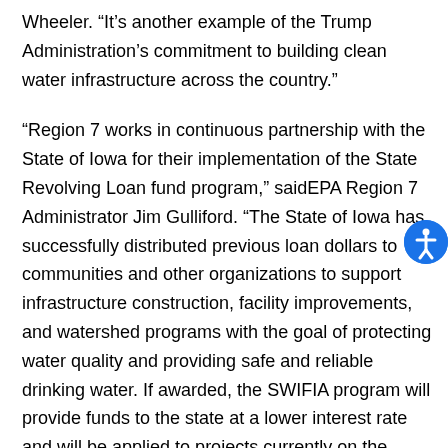Wheeler. “It’s another example of the Trump Administration’s commitment to building clean water infrastructure across the country.”
“Region 7 works in continuous partnership with the State of Iowa for their implementation of the State Revolving Loan fund program,” saidEPA Region 7 Administrator Jim Gulliford. “The State of Iowa has successfully distributed previous loan dollars to communities and other organizations to support infrastructure construction, facility improvements, and watershed programs with the goal of protecting water quality and providing safe and reliable drinking water. If awarded, the SWIFIA program will provide funds to the state at a lower interest rate and will be applied to projects currently on the state’s Intended Use Plans.”